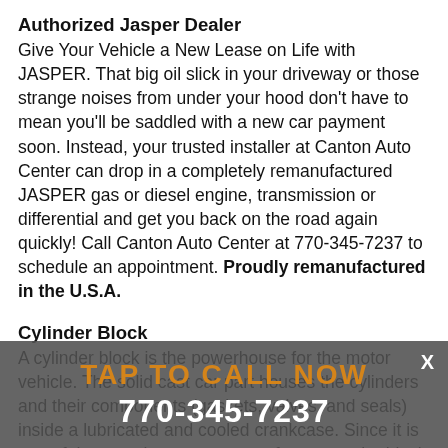Authorized Jasper Dealer
Give Your Vehicle a New Lease on Life with JASPER. That big oil slick in your driveway or those strange noises from under your hood don't have to mean you'll be saddled with a new car payment soon. Instead, your trusted installer at Canton Auto Center can drop in a completely remanufactured JASPER gas or diesel engine, transmission or differential and get you back on the road again quickly! Call Canton Auto Center at 770-345-7237 to schedule an appointment. Proudly remanufactured in the U.S.A.
Cylinder Block
A cylinder block is the powerhouse for the motor vehicle. The solid cast car part houses the cylinders and their components (gaskets, valves, and seals) inside a lubricated and cooled crankcase. Since it is one of the most important parts of your car, the block is designed to be extremely strong and sturdy. Although strong and sturdy, the block is susceptible to failure resulting in a vehicle that won't start. Cracked blocks, porous blocks, core plug, or freeze plug failure are some of the problems facing cylinder blocks. Call 770-345-7237 to talk to the
[Figure (infographic): Tap-to-call overlay banner with orange 'TAP TO CALL NOW' text and white phone number '770-345-7237' on a semi-transparent dark gray background, with a white X close button in top right.]